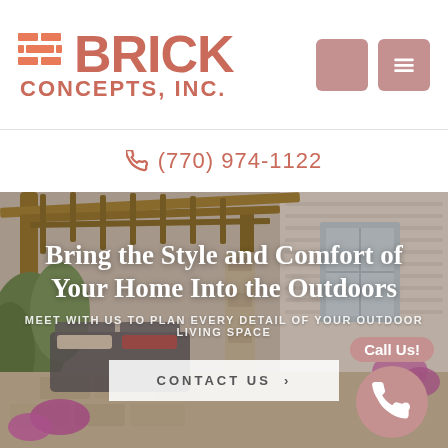[Figure (logo): Brick Concepts, Inc. logo with brick icon and company name in red/salmon color]
(770) 974-1122
[Figure (photo): Outdoor patio living space with covered pergola, outdoor furniture, and flowering plants]
Bring the Style and Comfort of Your Home Into the Outdoors
MEET WITH US TO PLAN EVERY DETAIL OF YOUR OUTDOOR LIVING SPACE
CONTACT US >
Call Us!